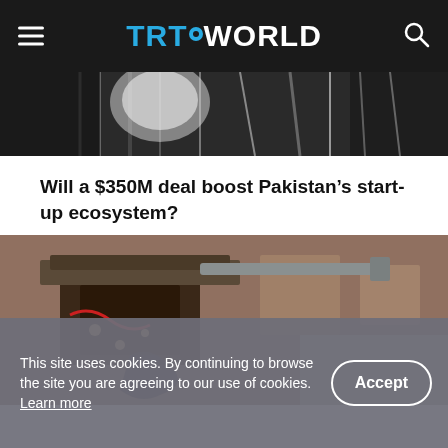TRT WORLD
[Figure (photo): Close-up of server cables or electronic wiring in dark tones, partially visible at top]
Will a $350M deal boost Pakistan’s start-up ecosystem?
[Figure (photo): Close-up of industrial machinery or 3D printer components with metal parts, wires, and bolts]
This site uses cookies. By continuing to browse the site you are agreeing to our use of cookies. Learn more